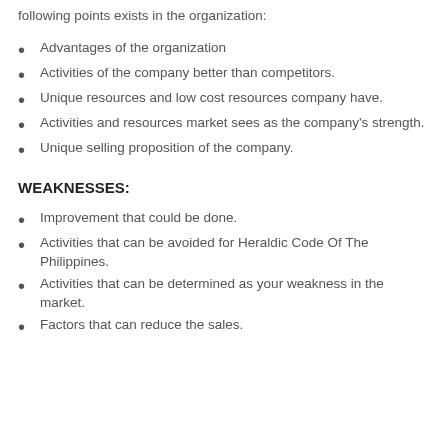following points exists in the organization:
Advantages of the organization
Activities of the company better than competitors.
Unique resources and low cost resources company have.
Activities and resources market sees as the company's strength.
Unique selling proposition of the company.
WEAKNESSES:
Improvement that could be done.
Activities that can be avoided for Heraldic Code Of The Philippines.
Activities that can be determined as your weakness in the market.
Factors that can reduce the sales.